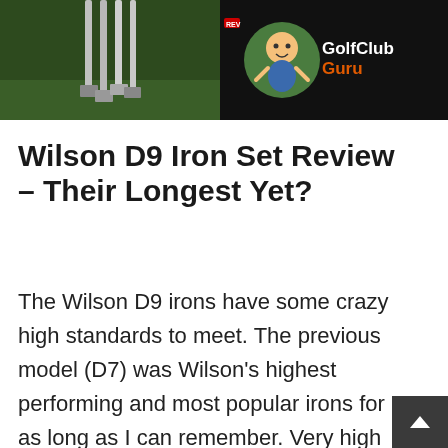[Figure (photo): Header image showing Wilson D9 golf irons on green background on the left side, and GolfClubGuru logo with a cartoon figure on black background on the right side.]
Wilson D9 Iron Set Review – Their Longest Yet?
The Wilson D9 irons have some crazy high standards to meet. The previous model (D7) was Wilson's highest performing and most popular irons for as long as I can remember. Very high reviews, very high test results from MyGolfSpy, very high sales numbers. Truthfully, I don't